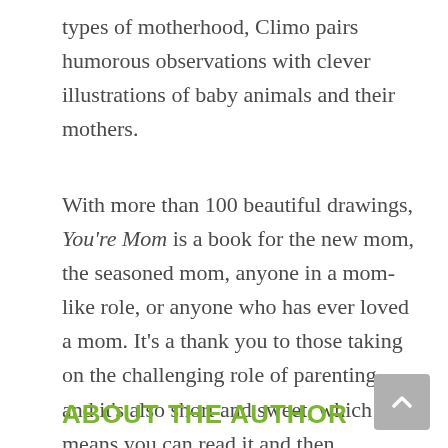types of motherhood, Climo pairs humorous observations with clever illustrations of baby animals and their mothers.
With more than 100 beautiful drawings, You're Mom is a book for the new mom, the seasoned mom, anyone in a mom-like role, or anyone who has ever loved a mom. It's a thank you to those taking on the challenging role of parenting - and it's also short and sweet, which means you can read it and then hopefully get some sleep!
ABOUT THE AUTHOR